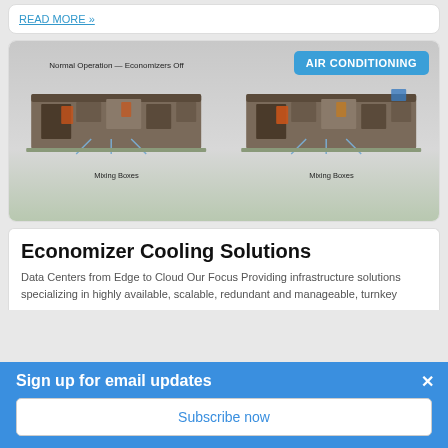READ MORE »
[Figure (illustration): Two side-by-side diagrams showing HVAC economizer operation: left side labeled 'Normal Operation — Economizers Off' with Mixing Boxes indicated, right side labeled 'Outside A...' with Mixing Boxes indicated. An 'AIR CONDITIONING' badge overlay in the top right.]
Economizer Cooling Solutions
Data Centers from Edge to Cloud Our Focus Providing infrastructure solutions specializing in highly available, scalable, redundant and manageable, turnkey
Sign up for email updates
Subscribe now